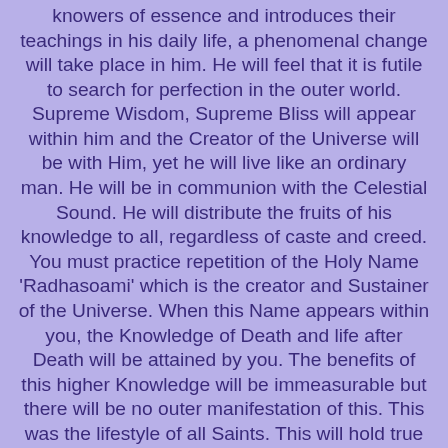knowers of essence and introduces their teachings in his daily life, a phenomenal change will take place in him. He will feel that it is futile to search for perfection in the outer world. Supreme Wisdom, Supreme Bliss will appear within him and the Creator of the Universe will be with Him, yet he will live like an ordinary man. He will be in communion with the Celestial Sound. He will distribute the fruits of his knowledge to all, regardless of caste and creed. You must practice repetition of the Holy Name 'Radhasoami' which is the creator and Sustainer of the Universe. When this Name appears within you, the Knowledge of Death and life after Death will be attained by you. The benefits of this higher Knowledge will be immeasurable but there will be no outer manifestation of this. This was the lifestyle of all Saints. This will hold true for all times as long as humanity lasts. Instead of looking for 'the best of man' in the outer world, you must practice the spiritual exercises prescribed by the Radhasoami